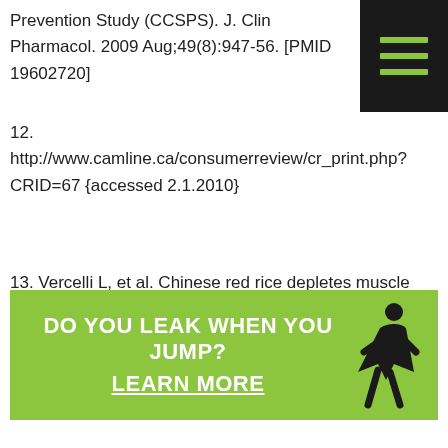Prevention Study (CCSPS). J. Clin Pharmacol. 2009 Aug;49(8):947-56. [PMID 19602720]
12. http://www.camline.ca/consumerreview/cr_print.php?CRID=67 {accessed 2.1.2010}
13. Vercelli L, et al. Chinese red rice depletes muscle coenzyme Q10 and maintains muscle damage after discontinuation of statin treatment. J Am Geriatr Soc.2006 Apr;54(4):718-20 [PMID: 16686894]"
[Figure (other): Hamburger menu icon — three horizontal green lines on black background, positioned top-right corner]
[Figure (infographic): Green banner advertisement: 'DO YOU LEAK WHEN YOU JUMP? LEARN MORE' with a female figure icon on the right]